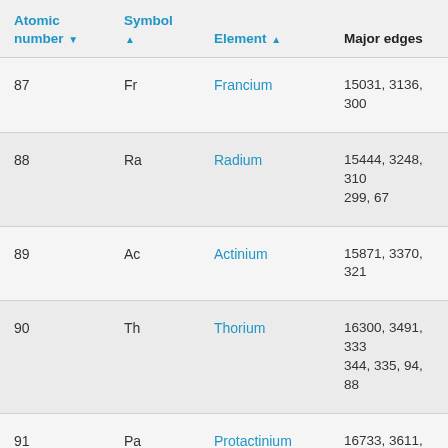| Atomic number ▼ | Symbol ▲ | Element ▲ | Major edges |
| --- | --- | --- | --- |
| 87 | Fr | Francium | 15031, 3136, 300… |
| 88 | Ra | Radium | 15444, 3248, 310… 299, 67 |
| 89 | Ac | Actinium | 15871, 3370, 321… |
| 90 | Th | Thorium | 16300, 3491, 333… 344, 335, 94, 88 |
| 91 | Pa | Protactinium | 16733, 3611, 344… 371, 360, 94 |
| 92 | U | Uranium | 17166, 3728, 355… |